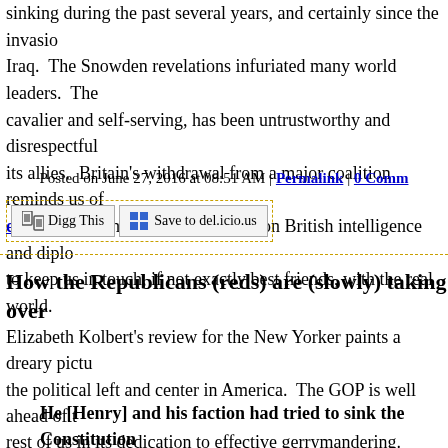sinking during the past several years, and certainly since the invasion of Iraq. The Snowden revelations infuriated many world leaders. The cavalier and self-serving, has been untrustworthy and disrespectful of its allies. Britain's withdrawal from a major coalition reminds us of the extent to which we have depended on British intelligence and diplomacy to keep us in touch, if not exactly best friends, with the real world.
Posted on June 27, 2016 at 08:51 AM | Permalink | 0 Comments
Digg This  Save to del.icio.us
How the Republicans (reds) are (slowly) taking over
Elizabeth Kolbert's review for the New Yorker paints a dreary picture of the political left and center in America. The GOP is well ahead of the rest of us in its dedication to effective gerrymandering. Kolbert is responding to David Daley's "RatF**ked: The True Story Behind The Secret Plan To Steal America's Democracy." Starting in the days of Patrick Henry v. President Madison, "fairness" was to be discouraged, the very Constitution discarded.
He [Henry] and his faction had tried to sink the Constitution...